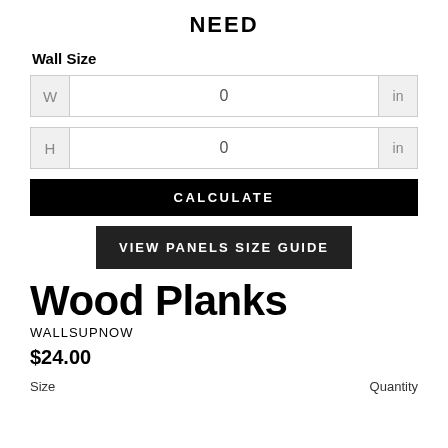NEED
Wall Size
W | 0 | in
H | 0 | in
CALCULATE
VIEW PANELS SIZE GUIDE
Wood Planks
WALLSUPNOW
$24.00
Size | Quantity